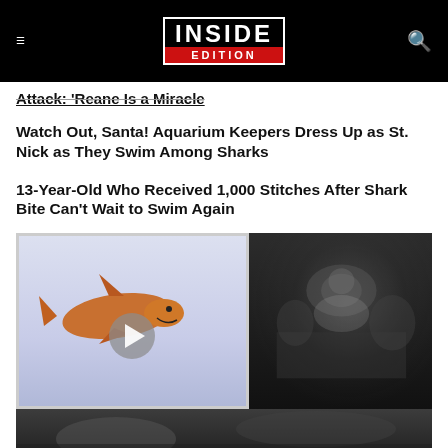INSIDE EDITION
Attack: 'Reane Is a Miracle'
Watch Out, Santa! Aquarium Keepers Dress Up as St. Nick as They Swim Among Sharks
13-Year-Old Who Received 1,000 Stitches After Shark Bite Can't Wait to Swim Again
[Figure (screenshot): Video thumbnail showing a shark in a tank on the left with a play button overlay, and a dark security camera footage on the right]